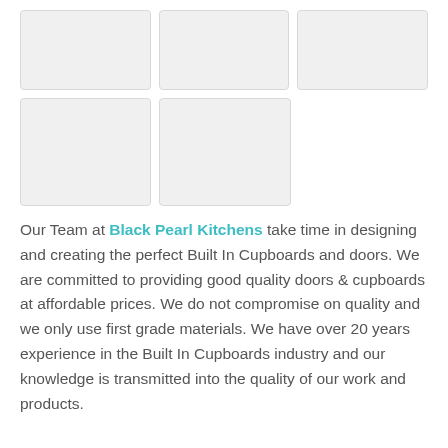[Figure (photo): A 3×1 grid (top row) and 2×1 grid (bottom row) of placeholder image boxes with light gray backgrounds, arranged in a gallery layout. Five boxes total.]
Our Team at Black Pearl Kitchens take time in designing and creating the perfect Built In Cupboards and doors. We are committed to providing good quality doors & cupboards at affordable prices. We do not compromise on quality and we only use first grade materials. We have over 20 years experience in the Built In Cupboards industry and our knowledge is transmitted into the quality of our work and products.